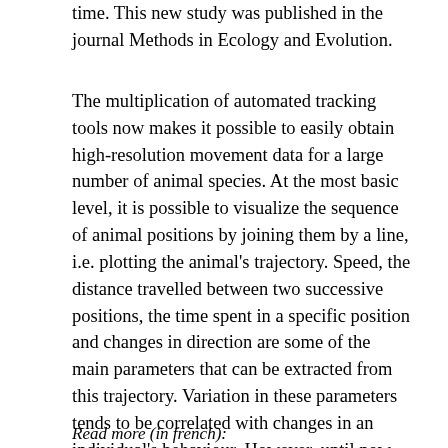time. This new study was published in the journal Methods in Ecology and Evolution.
The multiplication of automated tracking tools now makes it possible to easily obtain high-resolution movement data for a large number of animal species. At the most basic level, it is possible to visualize the sequence of animal positions by joining them by a line, i.e. plotting the animal's trajectory. Speed, the distance travelled between two successive positions, the time spent in a specific position and changes in direction are some of the main parameters that can be extracted from this trajectory. Variation in these parameters tends to be correlated with changes in an individual's behaviour. However, until now, these variations have provided little information on the time dimension of trajectories.
Read more (in french):